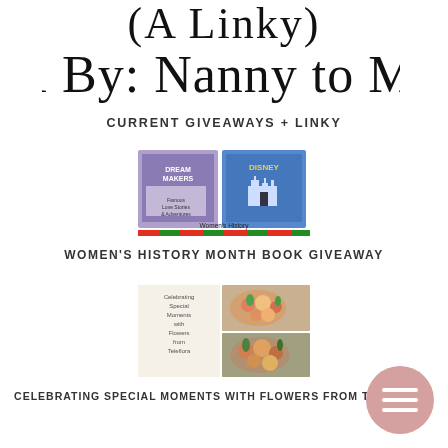[Figure (illustration): Partial cursive handwritten text showing '(A Linky)' and 'l By: Nanny to M' on white background — top of a blog header graphic]
CURRENT GIVEAWAYS + LINKY
[Figure (illustration): Women's History Month Giveaway promotional image showing two book covers and text 'Women's History Month Giveaway']
WOMEN'S HISTORY MONTH BOOK GIVEAWAY
[Figure (illustration): Teleflora flowers giveaway image showing floral arrangements with text 'Celebrating Special Moments with Flowers from Teleflora']
CELEBRATING SPECIAL MOMENTS WITH FLOWERS FROM TELEFLORA